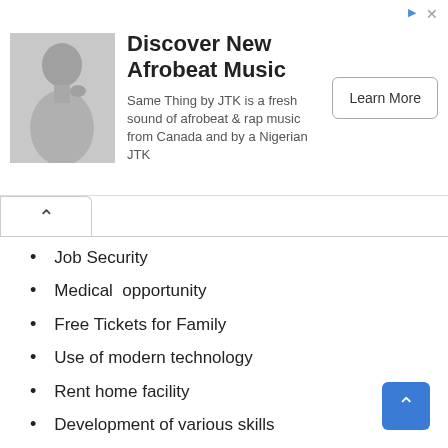[Figure (infographic): Advertisement banner: photo of a man, title 'Discover New Afrobeat Music', description 'Same Thing by JTK is a fresh sound of afrobeat & rap music from Canada and by a Nigerian JTK', and a 'Learn More' button.]
Job Security
Medical  opportunity
Free Tickets for Family
Use of modern technology
Rent home facility
Development of various skills
Handsome salary
Pick and drop facility
Free Annual Ticket
Accommodation Services
Wonderful  Management
Fruitful Environment
Employee Discounts